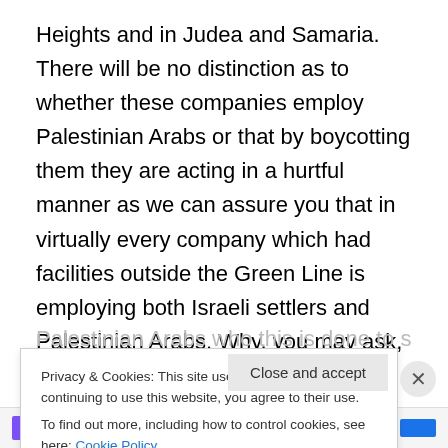Heights and in Judea and Samaria. There will be no distinction as to whether these companies employ Palestinian Arabs or that by boycotting them they are acting in a hurtful manner as we can assure you that in virtually every company which had facilities outside the Green Line is employing both Israeli settlers and Palestinian Arabs. Why, you may ask, would the international community boycott or otherwise target Israeli companies who employ Palestinian Arabs with equal rights and salaries as Israeli citizens possibly causing these Palestinian Arabs who this is done to support their good
Privacy & Cookies: This site uses cookies. By continuing to use this website, you agree to their use. To find out more, including how to control cookies, see here: Cookie Policy
Close and accept
FRONT PAGE